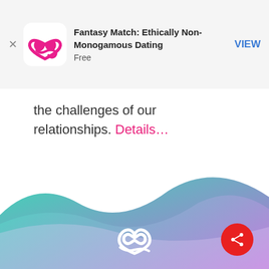[Figure (screenshot): App store advertisement banner for 'Fantasy Match: Ethically Non-Monogamous Dating', free app, with pink infinity-heart logo and VIEW button]
the challenges of our relationships. Details…
[Figure (illustration): Colorful wave design at bottom of page with teal-to-purple gradient waves, white infinity-heart logo centered, and red share button at bottom right]